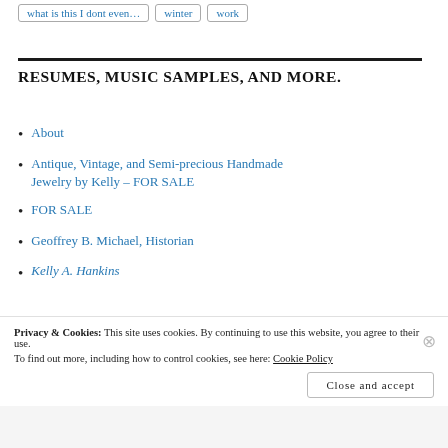what is this I dont even...
winter
work
RESUMES, MUSIC SAMPLES, AND MORE.
About
Antique, Vintage, and Semi-precious Handmade Jewelry by Kelly – FOR SALE
FOR SALE
Geoffrey B. Michael, Historian
Kelly A. Hankins...
Privacy & Cookies: This site uses cookies. By continuing to use this website, you agree to their use.
To find out more, including how to control cookies, see here: Cookie Policy
Close and accept